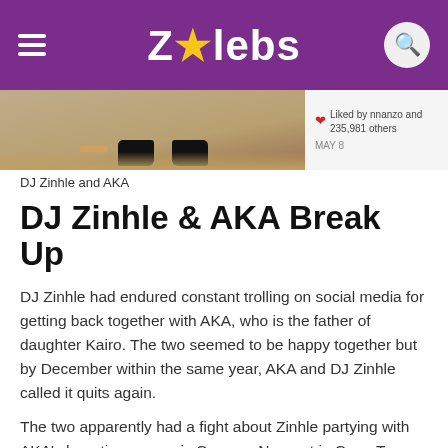ZAlebs
[Figure (photo): Cropped photo showing legs and black shoes of two people, likely DJ Zinhle and AKA, with a social media like count overlay on the right side reading 'Liked by nnanzo and 235,981 others']
DJ Zinhle and AKA
DJ Zinhle & AKA Break Up
DJ Zinhle had endured constant trolling on social media for getting back together with AKA, who is the father of daughter Kairo. The two seemed to be happy together but by December within the same year, AKA and DJ Zinhle called it quits again.
The two apparently had a fight about Zinhle partying with AKA's long-time nemesis Cassper Nyovest in Cape Town, and over "interfering" friends and family members.